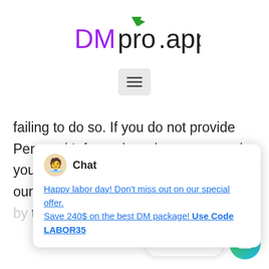[Figure (logo): DMpro.app logo with purple 'DM', black 'pro', green arrow, and black '.app' text]
[Figure (other): Hamburger menu icon (three horizontal lines) inside a light grey rounded rectangle]
failing to do so. If you do not provide Personal Information when requested, you may not be able to be [obscured] our Services. [The] information [obscured] the servic[e] collect it.
Chat
Happy labor day! Don't miss out on our special offer.
Save 240$ on the best DM package! Use Code LABOR35
Contact us